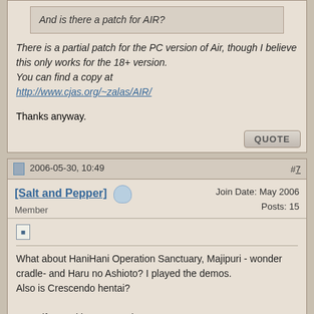And is there a patch for AIR?
There is a partial patch for the PC version of Air, though I believe this only works for the 18+ version.
You can find a copy at http://www.cjas.org/~zalas/AIR/
Thanks anyway.
QUOTE
2006-05-30, 10:49   #7
[Salt and Pepper]  Member   Join Date: May 2006  Posts: 15
What about HaniHani Operation Sanctuary, Majipuri - wonder cradle- and Haru no Ashioto? I played the demos.
Also is Crescendo hentai?

Sorry if I'm asking too much.
QUOTE